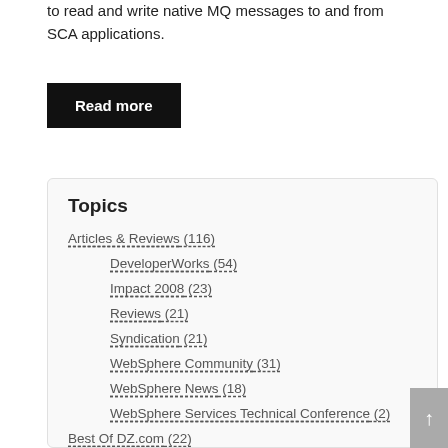to read and write native MQ messages to and from SCA applications.
Read more
Topics
Articles & Reviews (116)
DeveloperWorks (54)
Impact 2008 (23)
Reviews (21)
Syndication (21)
WebSphere Community (31)
WebSphere News (18)
WebSphere Services Technical Conference (2)
Best Of DZ.com (22)
Business Integration (246)